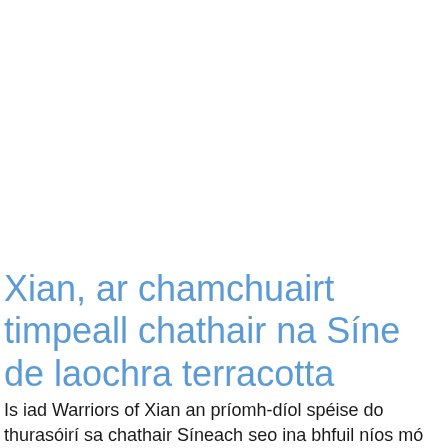Xian, ar chamchuairt timpeall chathair na Síne de laochra terracotta
Is iad Warriors of Xian an príomh-díol spéise do thurasóirí sa chathair Síneach seo ina bhfuil níos mó ná